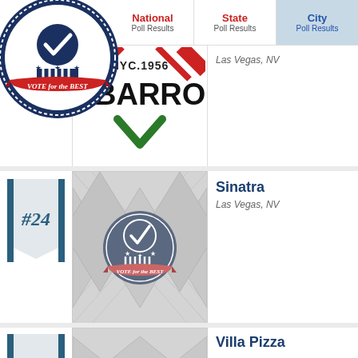[Figure (logo): Vote for the Best circular badge logo with checkmark, stars, and red banner]
National Poll Results | State Poll Results | City Poll Results
[Figure (logo): Sbarro restaurant logo: NYC.1956 with green and red diagonal stripes, large SBARRO text, green checkmark V]
Las Vegas, NV
#24
[Figure (logo): Vote for the Best circular badge placeholder image on diamond/checker gray pattern background]
Sinatra
Las Vegas, NV
Villa Pizza